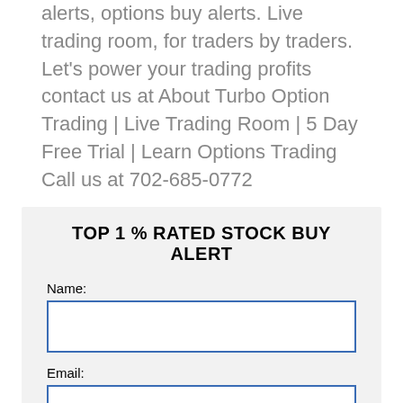alerts, options buy alerts. Live trading room, for traders by traders. Let's power your trading profits contact us at About Turbo Option Trading | Live Trading Room | 5 Day Free Trial | Learn Options Trading
Call us at 702-685-0772
TOP 1 % RATED STOCK BUY ALERT
Name:
Email:
Phone number: